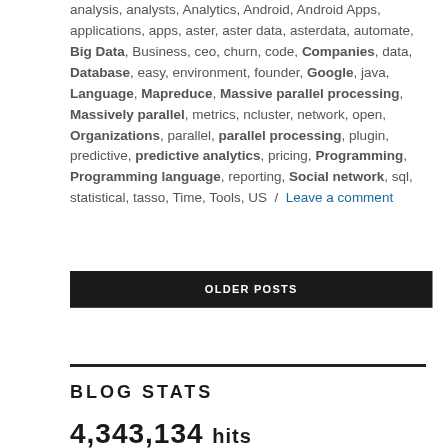analysis, analysts, Analytics, Android, Android Apps, applications, apps, aster, aster data, asterdata, automate, Big Data, Business, ceo, churn, code, Companies, data, Database, easy, environment, founder, Google, java, Language, Mapreduce, Massive parallel processing, Massively parallel, metrics, ncluster, network, open, Organizations, parallel, parallel processing, plugin, predictive, predictive analytics, pricing, Programming, Programming language, reporting, Social network, sql, statistical, tasso, Time, Tools, US / Leave a comment
OLDER POSTS
BLOG STATS